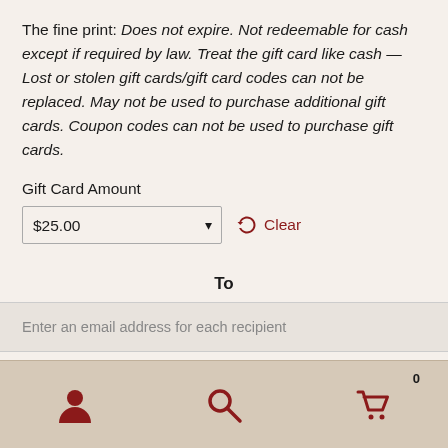The fine print: Does not expire. Not redeemable for cash except if required by law. Treat the gift card like cash — Lost or stolen gift cards/gift card codes can not be replaced. May not be used to purchase additional gift cards. Coupon codes can not be used to purchase gift cards.
Gift Card Amount
$25.00
Clear
To
Enter an email address for each recipient
Separate multiple email addresses with a comma.
[Figure (infographic): Bottom navigation bar with three icons: person/account icon, search magnifying glass icon, and shopping cart icon with badge showing 0]